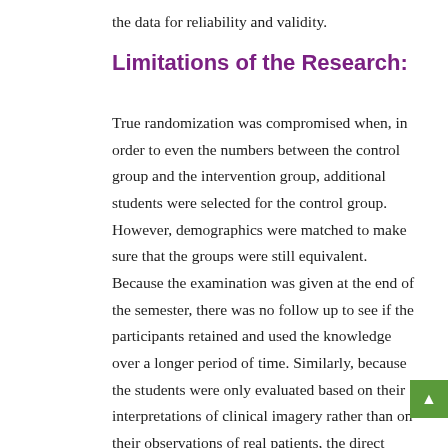the data for reliability and validity.
Limitations of the Research:
True randomization was compromised when, in order to even the numbers between the control group and the intervention group, additional students were selected for the control group. However, demographics were matched to make sure that the groups were still equivalent. Because the examination was given at the end of the semester, there was no follow up to see if the participants retained and used the knowledge over a longer period of time. Similarly, because the students were only evaluated based on their interpretations of clinical imagery rather than on their observations of real patients, the direct relationship between the course and medical practice were not measured